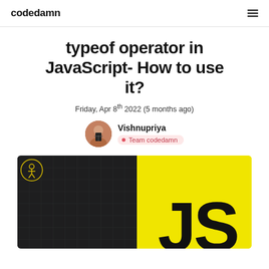codedamn
typeof operator in JavaScript- How to use it?
Friday, Apr 8th 2022 (5 months ago)
Vishnupriya
Team codedamn
[Figure (photo): Hero image split into two halves: left half dark/black grid background with a yellow circular icon, right half bright yellow with large bold JS text]